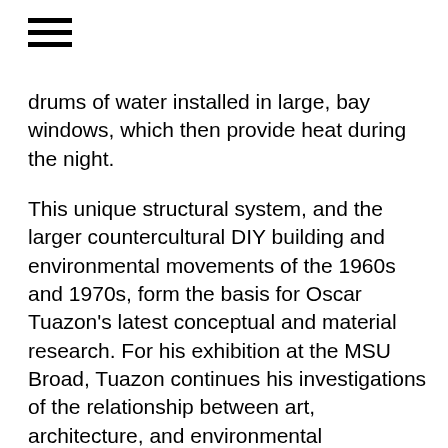[Figure (other): Hamburger menu icon — three horizontal black bars]
drums of water installed in large, bay windows, which then provide heat during the night.
This unique structural system, and the larger countercultural DIY building and environmental movements of the 1960s and 1970s, form the basis for Oscar Tuazon's latest conceptual and material research. For his exhibition at the MSU Broad, Tuazon continues his investigations of the relationship between art, architecture, and environmental sustainability, with specific consideration of the exhibition's immediate context: Michigan and the Great Lakes region.
As the title suggests, Tuazon will initiate the latest version of his Water School, while also bridging the conversation in Michigan with the artist's schools in